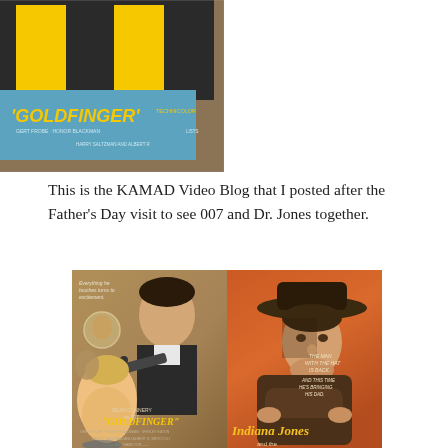[Figure (photo): Photo of a Goldfinger movie poster or promotional item, black and yellow design with text 'GOLDFINGER' in yellow letters, laid on a surface]
This is the KAMAD Video Blog that I posted after the Father's Day visit to see 007 and Dr. Jones together.
[Figure (photo): Two movie posters side by side: left is Goldfinger (James Bond 007) featuring Sean Connery with a gun and a woman, right is Indiana Jones featuring Harrison Ford in hat and leather jacket with text 'THE MAN WITH THE HAT IS BACK AND THIS TIME HE'S BRINGING HIS DAD']